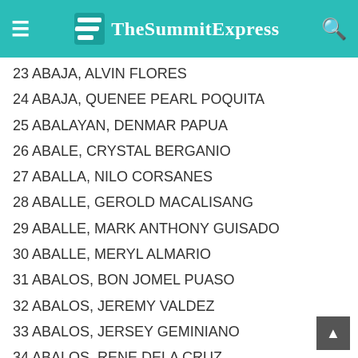TheSummitExpress
23 ABAJA, ALVIN FLORES
24 ABAJA, QUENEE PEARL POQUITA
25 ABALAYAN, DENMAR PAPUA
26 ABALE, CRYSTAL BERGANIO
27 ABALLA, NILO CORSANES
28 ABALLE, GEROLD MACALISANG
29 ABALLE, MARK ANTHONY GUISADO
30 ABALLE, MERYL ALMARIO
31 ABALOS, BON JOMEL PUASO
32 ABALOS, JEREMY VALDEZ
33 ABALOS, JERSEY GEMINIANO
34 ABALOS, RENE DELA CRUZ
35 ABALOS, WINDY MONTECER
36 ABAN, DIONISIO BERNARDINO
37 ABAN, ERNESTO JR ESTANISLAO
38 ABAN, EZEKIEL JOHN DILODILO
39 ABANA, JEREMY BAQUIRAN